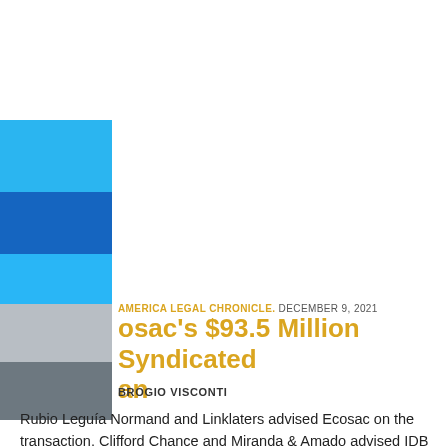AMERICA LEGAL CHRONICLE. DECEMBER 9, 2021
osac's $93.5 Million Syndicated an
BROGIO VISCONTI
Rubio Leguía Normand and Linklaters advised Ecosac on the transaction. Clifford Chance and Miranda & Amado advised IDB Invest and Deutsche Investitions-und Entwicklungsgesellschaft mbH. IDB Invest, [...]